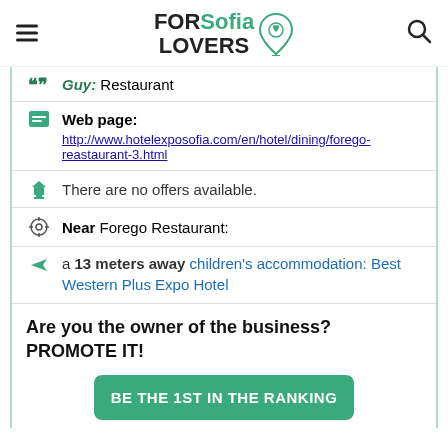FOR Sofia LOVERS
Guy: Restaurant
Web page:
http://www.hotelexposofia.com/en/hotel/dining/forego-reastaurant-3.html
There are no offers available.
Near Forego Restaurant:
a 13 meters away children's accommodation: Best Western Plus Expo Hotel
Are you the owner of the business? PROMOTE IT!
BE THE 1ST IN THE RANKING